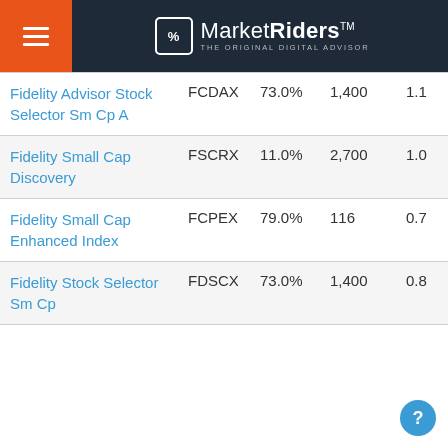MarketRiders THE ORIGINAL DIGITAL ADVISOR
| Fund Name | Ticker | % | Holdings | Ratio |
| --- | --- | --- | --- | --- |
| Fidelity Advisor Stock Selector Sm Cp A | FCDAX | 73.0% | 1,400 | 1.1 |
| Fidelity Small Cap Discovery | FSCRX | 11.0% | 2,700 | 1.0 |
| Fidelity Small Cap Enhanced Index | FCPEX | 79.0% | 116 | 0.7 |
| Fidelity Stock Selector Sm Cp | FDSCX | 73.0% | 1,400 | 0.8 |